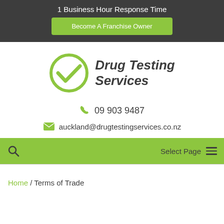1 Business Hour Response Time
Become A Franchise Owner
[Figure (logo): Drug Testing Services logo with green circle checkmark and bold italic text reading Drug Testing Services]
09 903 9487
auckland@drugtestingservices.co.nz
Select Page
Home / Terms of Trade